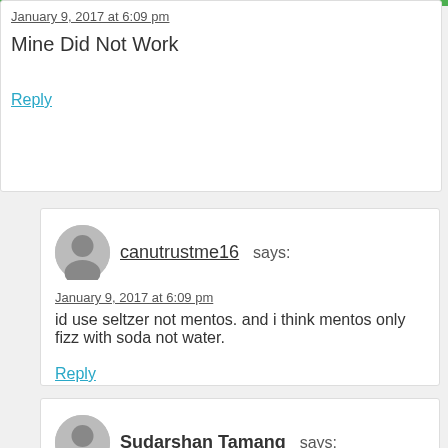January 9, 2017 at 6:09 pm
Mine Did Not Work
Reply
canutrustme16 says:
January 9, 2017 at 6:09 pm
id use seltzer not mentos. and i think mentos only fizz with soda not water.
Reply
Sudarshan Tamang says:
January 9, 2017 at 6:09 pm
can we use mentos?
Reply